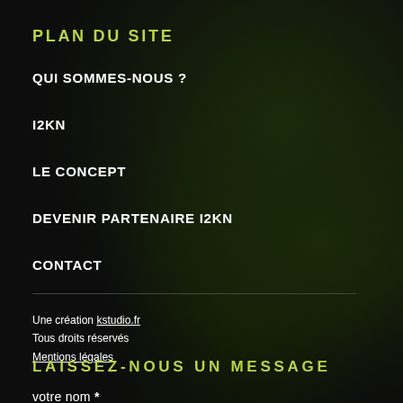PLAN DU SITE
QUI SOMMES-NOUS ?
I2KN
LE CONCEPT
DEVENIR PARTENAIRE I2KN
CONTACT
Une création kstudio.fr
Tous droits réservés
Mentions légales
LAISSEZ-NOUS UN MESSAGE
votre nom *